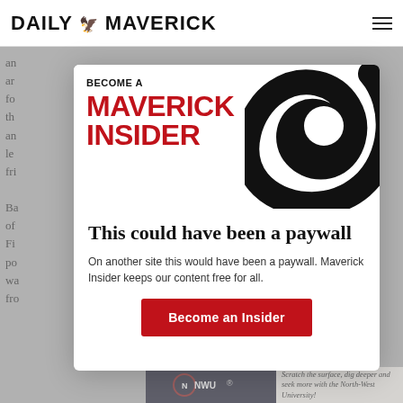DAILY MAVERICK
an ar fo th an le fri Ba of Fi po wa fro
[Figure (infographic): Become a Maverick Insider promotional banner with red bold text and black/white spiral swirl graphic on right side]
This could have been a paywall
On another site this would have been a paywall. Maverick Insider keeps our content free for all.
Become an Insider
[Figure (photo): NWU North-West University advertisement banner at bottom with students and tagline: Scratch the surface, dig deeper and seek more with the North-West University!]